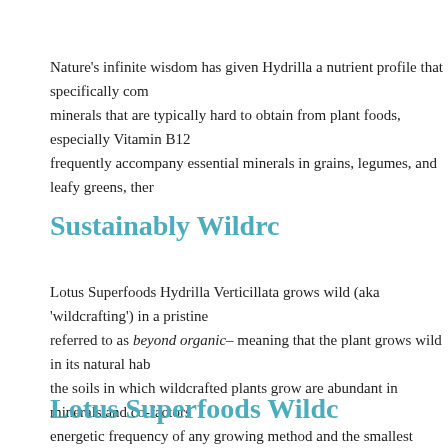Nature's infinite wisdom has given Hydrilla a nutrient profile that specifically com minerals that are typically hard to obtain from plant foods, especially Vitamin B12 frequently accompany essential minerals in grains, legumes, and leafy greens, ther
Sustainably Wildrc
Lotus Superfoods Hydrilla Verticillata grows wild (aka 'wildcrafting') in a pristine referred to as beyond organic– meaning that the plant grows wild in its natural hab the soils in which wildcrafted plants grow are abundant in minerals and co-factors energetic frequency of any growing method and the smallest environmental footpr
Lotus Superfoods Wildc